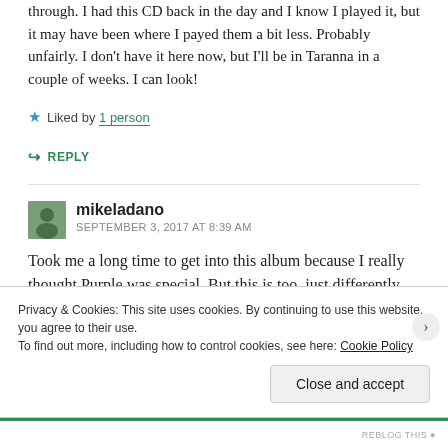through. I had this CD back in the day and I know I played it, but it may have been where I payed them a bit less. Probably unfairly. I don't have it here now, but I'll be in Taranna in a couple of weeks. I can look!
★ Liked by 1 person
↪ REPLY
mikeladano
SEPTEMBER 3, 2017 AT 8:39 AM
Took me a long time to get into this album because I really thought Purple was special. But this is too, just differently.
Privacy & Cookies: This site uses cookies. By continuing to use this website, you agree to their use.
To find out more, including how to control cookies, see here: Cookie Policy
Close and accept